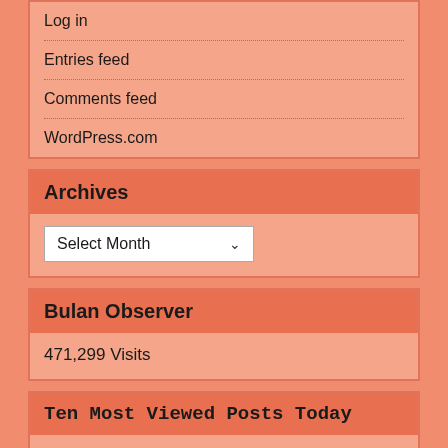Log in
Entries feed
Comments feed
WordPress.com
Archives
[Figure (other): Select Month dropdown widget]
Bulan Observer
471,299 Visits
Ten Most Viewed Posts Today
"Never To Own Anything That Is Not Ours"